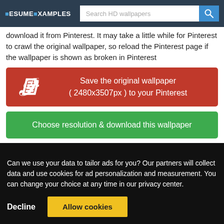RESUME EXAMPLES | Search HD wallpapers
download it from Pinterest. It may take a little while for Pinterest to crawl the original wallpaper, so reload the Pinterest page if the wallpaper is shown as broken in Pinterest
[Figure (other): Red Pinterest button: Save the original wallpaper ( 2480x3507px ) to your Pinterest]
[Figure (other): Green button: Choose resolution & download this wallpaper]
Related HD wallpapers
Can we use your data to tailor ads for you? Our partners will collect data and use cookies for ad personalization and measurement. You can change your choice at any time in our privacy center.
Decline  Allow cookies